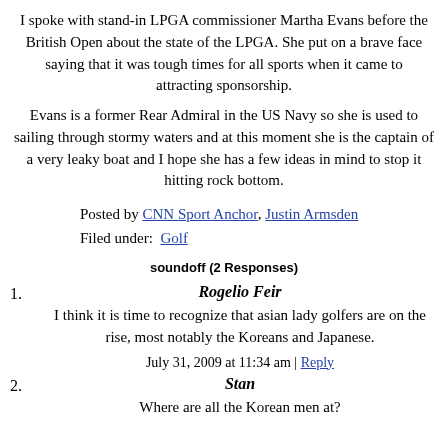I spoke with stand-in LPGA commissioner Martha Evans before the British Open about the state of the LPGA. She put on a brave face saying that it was tough times for all sports when it came to attracting sponsorship.
Evans is a former Rear Admiral in the US Navy so she is used to sailing through stormy waters and at this moment she is the captain of a very leaky boat and I hope she has a few ideas in mind to stop it hitting rock bottom.
Posted by CNN Sport Anchor, Justin Armsden
Filed under: Golf
soundoff (2 Responses)
1. Rogelio Feir
I think it is time to recognize that asian lady golfers are on the rise, most notably the Koreans and Japanese.
July 31, 2009 at 11:34 am | Reply
2. Stan
Where are all the Korean men at?